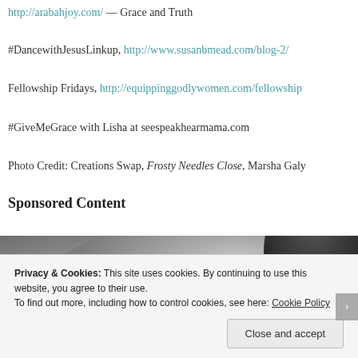http://arabahjoy.com/ — Grace and Truth
#DancewithJesusLinkup, http://www.susanbmead.com/blog-2/
Fellowship Fridays, http://equippinggodlywomen.com/fellowship
#GiveMeGrace with Lisha at seespeakhearmama.com
Photo Credit: Creations Swap, Frosty Needles Close, Marsha Galy
Sponsored Content
[Figure (photo): Dark close-up photograph, appears to show a dark spherical object against a grey blurred background]
Privacy & Cookies: This site uses cookies. By continuing to use this website, you agree to their use.
To find out more, including how to control cookies, see here: Cookie Policy
Close and accept